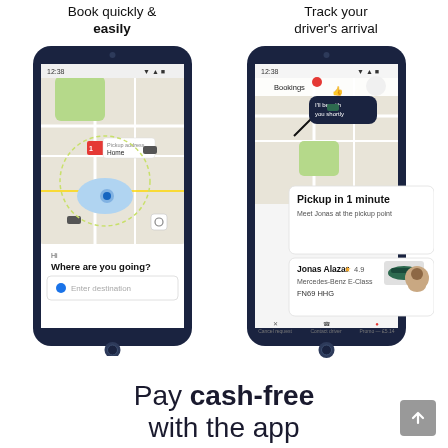[Figure (screenshot): Two smartphone screenshots side by side. Left phone shows a ride-booking app map screen with 'Hi Where are you going?' and 'Enter destination' input. Right phone shows a driver tracking screen with 'Pickup in 1 minute', 'Meet Jonas at the pickup point', driver info for Jonas Alazar, Mercedes-Benz E-Class, FN69 HHG.]
Book quickly & easily
Track your driver's arrival
Pay cash-free with the app